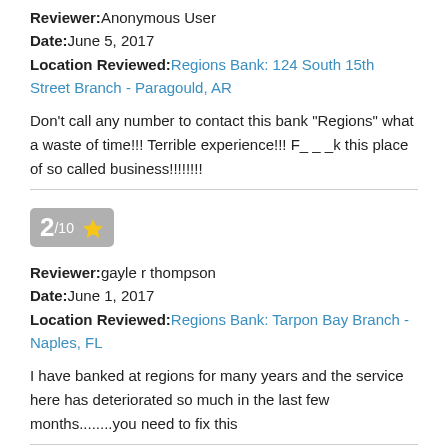Reviewer: Anonymous User
Date: June 5, 2017
Location Reviewed: Regions Bank: 124 South 15th Street Branch - Paragould, AR
Don't call any number to contact this bank "Regions" what a waste of time!!! Terrible experience!!! F_ _ _k this place of so called business!!!!!!!!
2/10 ★
Reviewer: gayle r thompson
Date: June 1, 2017
Location Reviewed: Regions Bank: Tarpon Bay Branch - Naples, FL
I have banked at regions for many years and the service here has deteriorated so much in the last few months........you need to fix this
Reviewer: Melissa
Date: May 11, 2017
Location Reviewed: Regions Bank: New Augusta Branch - ...